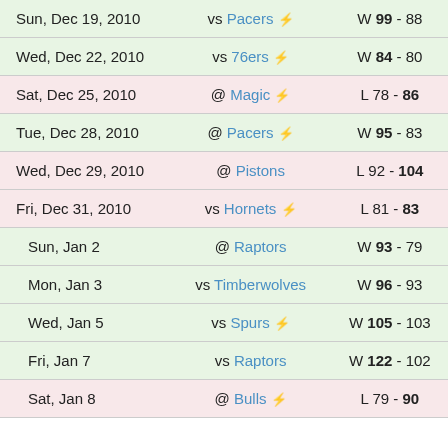| Date | Matchup | Result |
| --- | --- | --- |
| Sun, Dec 19, 2010 | vs Pacers ⚡ | W 99 - 88 |
| Wed, Dec 22, 2010 | vs 76ers ⚡ | W 84 - 80 |
| Sat, Dec 25, 2010 | @ Magic ⚡ | L 78 - 86 |
| Tue, Dec 28, 2010 | @ Pacers ⚡ | W 95 - 83 |
| Wed, Dec 29, 2010 | @ Pistons | L 92 - 104 |
| Fri, Dec 31, 2010 | vs Hornets ⚡ | L 81 - 83 |
| Sun, Jan 2 | @ Raptors | W 93 - 79 |
| Mon, Jan 3 | vs Timberwolves | W 96 - 93 |
| Wed, Jan 5 | vs Spurs ⚡ | W 105 - 103 |
| Fri, Jan 7 | vs Raptors | W 122 - 102 |
| Sat, Jan 8 | @ Bulls ⚡ | L 79 - 90 |